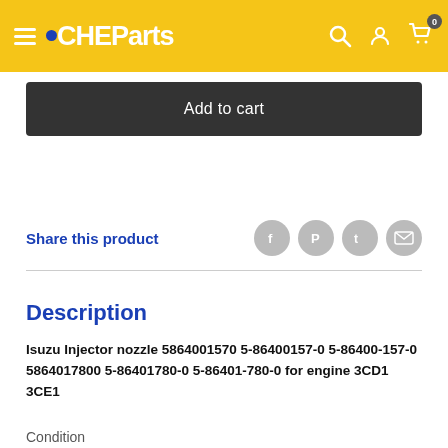CHEParts
Add to cart
Share this product
Description
Isuzu Injector nozzle 5864001570 5-86400157-0 5-86400-157-0 5864017800 5-86401780-0 5-86401-780-0 for engine 3CD1 3CE1
Condition